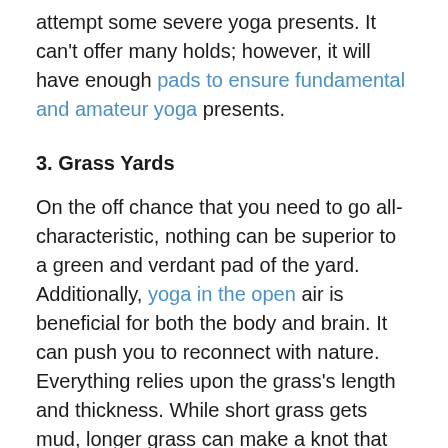attempt some severe yoga presents. It can't offer many holds; however, it will have enough pads to ensure fundamental and amateur yoga presents.
3. Grass Yards
On the off chance that you need to go all-characteristic, nothing can be superior to a green and verdant pad of the yard. Additionally, yoga in the open air is beneficial for both the body and brain. It can push you to reconnect with nature. Everything relies upon the grass's length and thickness. While short grass gets mud, longer grass can make a knot that can hurt the heel.